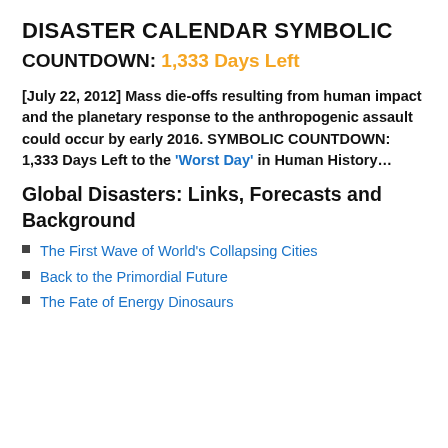DISASTER CALENDAR SYMBOLIC
COUNTDOWN: 1,333 Days Left
[July 22, 2012] Mass die-offs resulting from human impact and the planetary response to the anthropogenic assault could occur by early 2016. SYMBOLIC COUNTDOWN: 1,333 Days Left to the 'Worst Day' in Human History…
Global Disasters: Links, Forecasts and Background
The First Wave of World's Collapsing Cities
Back to the Primordial Future
The Fate of Energy Dinosaurs